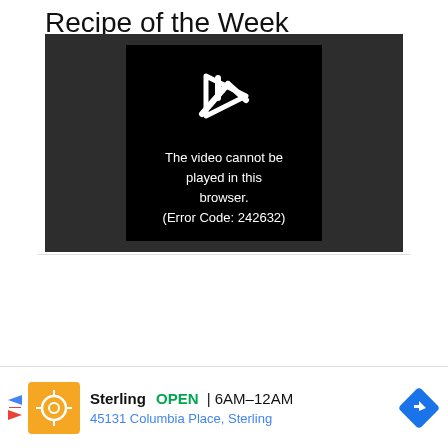Recipe of the Week
[Figure (screenshot): Video player showing error message: The video cannot be played in this browser. (Error Code: 242632)]
[Figure (other): Advertisement bar: Sterling OPEN 6AM-12AM, 45131 Columbia Place, Sterling]